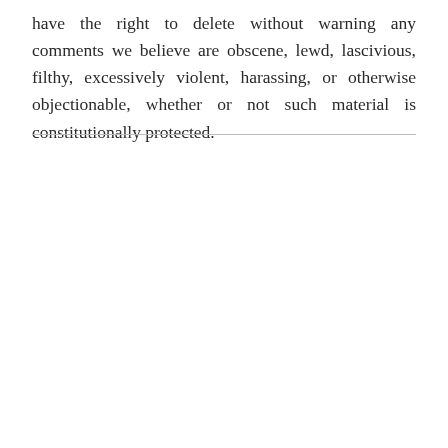have the right to delete without warning any comments we believe are obscene, lewd, lascivious, filthy, excessively violent, harassing, or otherwise objectionable, whether or not such material is constitutionally protected.